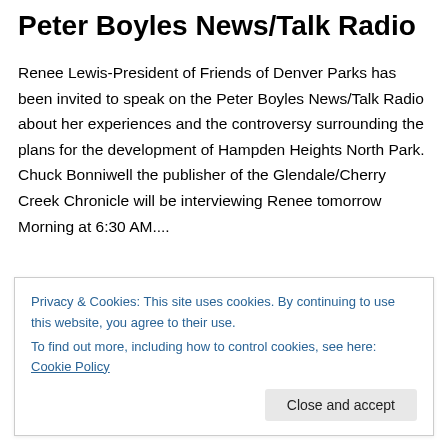Peter Boyles News/Talk Radio
Renee Lewis-President of Friends of Denver Parks has been invited to speak on the Peter Boyles News/Talk Radio about her experiences and the controversy surrounding the plans for the development of Hampden Heights North Park.  Chuck Bonniwell the publisher of the Glendale/Cherry Creek Chronicle will be interviewing Renee tomorrow
Morning at 6:30 AM....
When:  8/7/12 tomorrow morning
Privacy & Cookies: This site uses cookies. By continuing to use this website, you agree to their use.
To find out more, including how to control cookies, see here: Cookie Policy
Close and accept